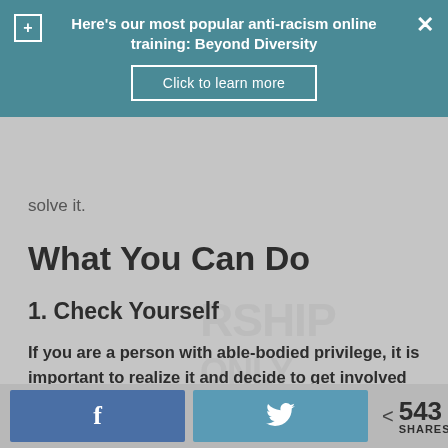Here's our most popular anti-racism online training: Beyond Diversity
Click to learn more
solve it.
What You Can Do
1. Check Yourself
If you are a person with able-bodied privilege, it is important to realize it and decide to get involved in helping to combat ableism.
Everyday Feminism has two articles that will help get you started: 10 Ways to Avoid Everyday Ableism